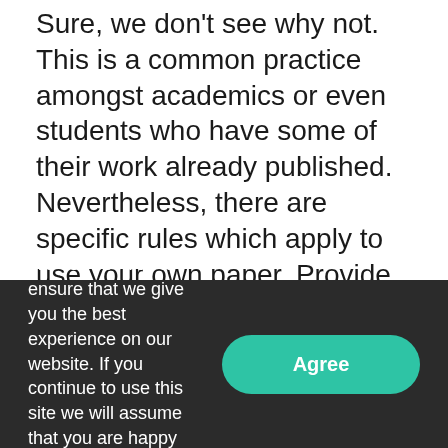Sure, we don't see why not. This is a common practice amongst academics or even students who have some of their work already published. Nevertheless, there are specific rules which apply to use your own paper. Provide links and guidance to the article in the beginning and disclose the fact that it is a usable source. Once this is revealed, you have nothing else to worry about!
[Figure (other): Green call-to-action button with white uppercase text: SIGN UP FOR PLAGIARISM CHECK RIGTH NOW]
We use cookies to ensure that we give you the best experience on our website. If you continue to use this site we will assume that you are happy with it.
[Figure (other): Green rounded Agree button in cookie consent bar]